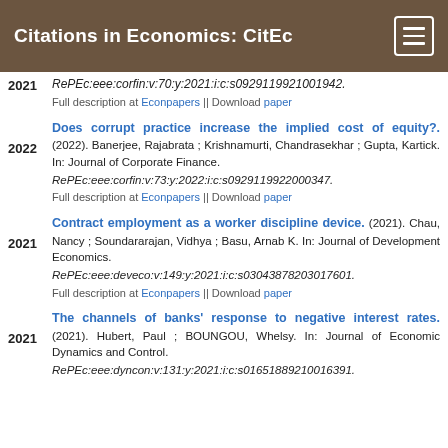Citations in Economics: CitEc
2021 — RePEc:eee:corfin:v:70:y:2021:i:c:s0929119921001942. Full description at Econpapers || Download paper
Does corrupt practice increase the implied cost of equity?. (2022). Banerjee, Rajabrata ; Krishnamurti, Chandrasekhar ; Gupta, Kartick. In: Journal of Corporate Finance. RePEc:eee:corfin:v:73:y:2022:i:c:s0929119922000347. Full description at Econpapers || Download paper
Contract employment as a worker discipline device. (2021). Chau, Nancy ; Soundararajan, Vidhya ; Basu, Arnab K. In: Journal of Development Economics. RePEc:eee:deveco:v:149:y:2021:i:c:s03043878203017601. Full description at Econpapers || Download paper
The channels of banks' response to negative interest rates. (2021). Hubert, Paul ; BOUNGOU, Whelsy. In: Journal of Economic Dynamics and Control. RePEc:eee:dyncon:v:131:y:2021:i:c:s01651889210016391.